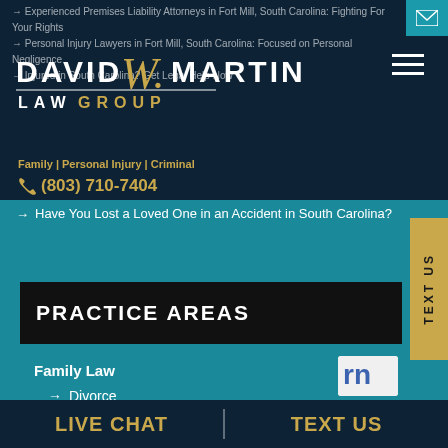Experienced Premises Liability Attorneys in Fort Mill, South Carolina: Fighting For Your Rights
[Figure (logo): David W. Martin Law Group logo with serif script W in gold]
Family | Personal Injury | Criminal
(803) 710-7404
Have You Lost a Loved One in an Accident in South Carolina?
PRACTICE AREAS
Family Law
Divorce
Alimony
Child Custody
LIVE CHAT | TEXT US